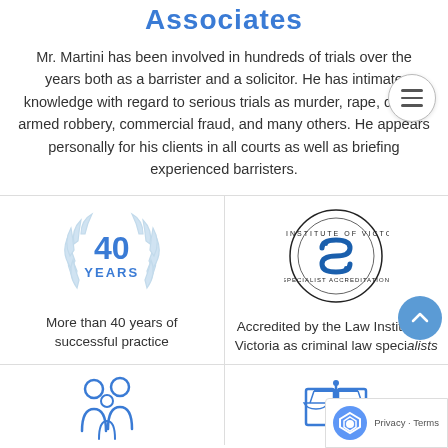Associates
Mr. Martini has been involved in hundreds of trials over the years both as a barrister and a solicitor. He has intimate knowledge with regard to serious trials as murder, rape, drugs, armed robbery, commercial fraud, and many others. He appears personally for his clients in all courts as well as briefing experienced barristers.
[Figure (illustration): 40 YEARS laurel wreath badge in light blue]
More than 40 years of successful practice
[Figure (logo): Law Institute of Victoria Specialist Accreditation circular logo in black and blue]
Accredited by the Law Institute of Victoria as criminal law specialists
[Figure (illustration): Family/people icon in blue]
[Figure (illustration): Law book/scales icon in blue]